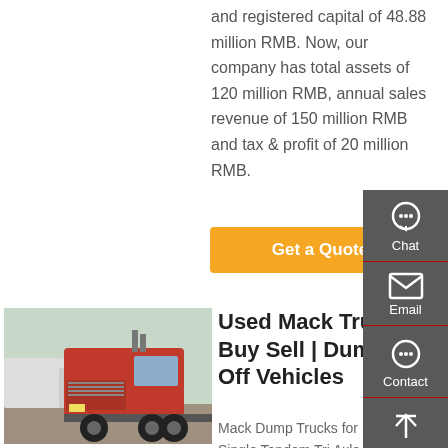and registered capital of 48.88 million RMB. Now, our company has total assets of 120 million RMB, annual sales revenue of 150 million RMB and tax & profit of 20 million RMB.
[Figure (other): Orange 'Get a Quote' button]
[Figure (photo): Photo of a red Mack truck (tractor unit) parked in a lot with other trucks]
Used Mack Trucks Buy Sell | Dump Roll Off Vehicles
Mack Dump Trucks for Sale Used Single Tandem Tri Axle Tractor Concrete Cement Tipper